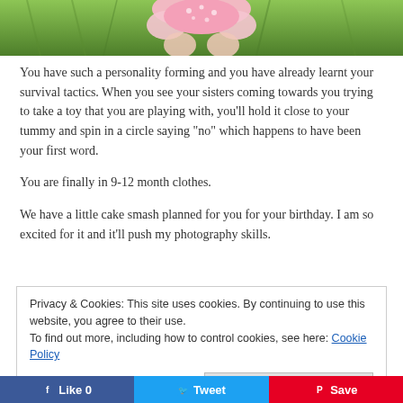[Figure (photo): Top portion of a photo showing a child in a pink floral outfit on green grass, with the child's feet/body visible from below.]
You have such a personality forming and you have already learnt your survival tactics. When you see your sisters coming towards you trying to take a toy that you are playing with, you’ll hold it close to your tummy and spin in a circle saying “no” which happens to have been your first word.
You are finally in 9-12 month clothes.
We have a little cake smash planned for you for your birthday. I am so excited for it and it’ll push my photography skills.
Privacy & Cookies: This site uses cookies. By continuing to use this website, you agree to their use.
To find out more, including how to control cookies, see here: Cookie Policy
Close and accept
Like 0   Tweet   Save